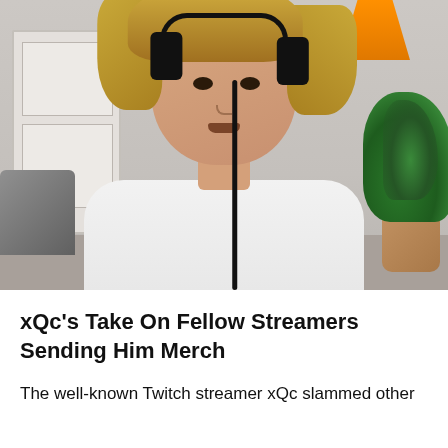[Figure (photo): Screenshot of xQc, a Twitch streamer with blonde hair and black headphones wearing a white shirt, seated in front of a room with a door, plant, and orange item visible in the background.]
xQc's Take On Fellow Streamers Sending Him Merch
The well-known Twitch streamer xQc slammed other